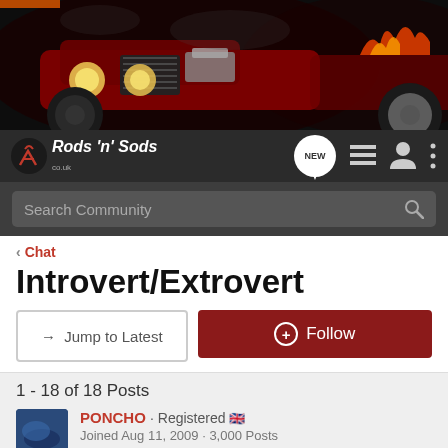[Figure (photo): Hot rod car banner image — dark background with red hot rod cars and flames]
[Figure (logo): Rods 'n' Sods logo with crossed wrenches icon and text, followed by NEW chat bubble, list icon, person icon, and vertical dots menu]
[Figure (screenshot): Search Community search bar with magnifying glass icon]
< Chat
Introvert/Extrovert
→ Jump to Latest
+ Follow
1 - 18 of 18 Posts
PONCHO · Registered 🇬🇧
Joined Aug 11, 2009 · 3,000 Posts